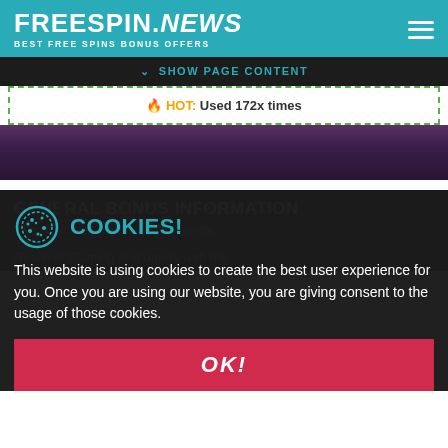FREESPIN.NEWS — BEST FREE SPINS BONUS OFFERS
SHOW PAGE CONTENT
HOT: Used 172x times
GENERAL BONUS INFORMATION
[Figure (illustration): Cookie icon — circular cookie with dots pattern, outlined in teal/cyan color]
COOKIES!
This website is using cookies to create the best user experience for you. Once you are using our website, you are giving consent to the usage of those cookies.
OK!
New players at MajestySlots have the ... sign up. Try games from popular
Revolver Gaming and others with the